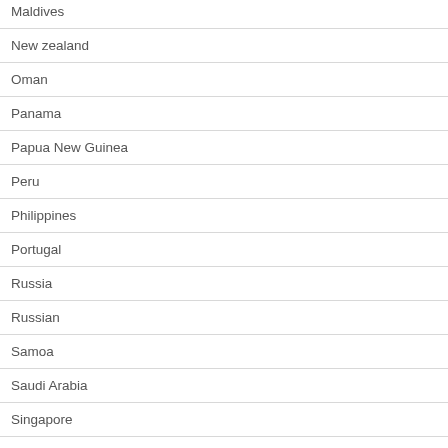Maldives
New zealand
Oman
Panama
Papua New Guinea
Peru
Philippines
Portugal
Russia
Russian
Samoa
Saudi Arabia
Singapore
Solomon Islands